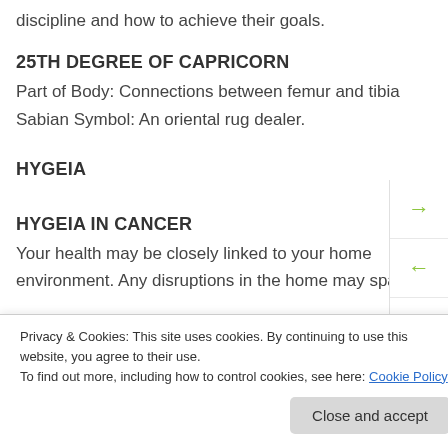discipline and how to achieve their goals.
25TH DEGREE OF CAPRICORN
Part of Body: Connections between femur and tibia
Sabian Symbol: An oriental rug dealer.
HYGEIA
HYGEIA IN CANCER
Your health may be closely linked to your home environment. Any disruptions in the home may spar
Privacy & Cookies: This site uses cookies. By continuing to use this website, you agree to their use. To find out more, including how to control cookies, see here: Cookie Policy
Close and accept